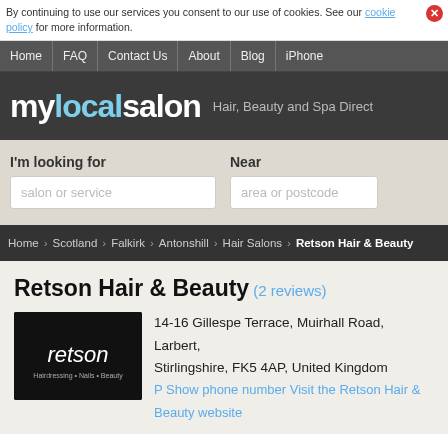By continuing to use our services you consent to our use of cookies. See our cookie policy for more information.
Home | FAQ | Contact Us | About | Blog | iPhone
[Figure (logo): mylocalsalon logo with tagline: Hair, Beauty and Spa Direct]
[Figure (screenshot): Search form with 'I'm looking for' (salon or service) and 'Near' (area or postcode) fields]
Home > Scotland > Falkirk > Antonshill > Hair Salons > Retson Hair & Beauty
Retson Hair & Beauty (2 reviews)
[Figure (logo): Retson salon logo — black background with 'retson' in white, Hairdressing • Nails • Beauty]
14-16 Gillespe Terrace, Muirhall Road, Larbert, Stirlingshire, FK5 4AP, United Kingdom
P Show phone number
Visit the Retson Hair & Beauty website